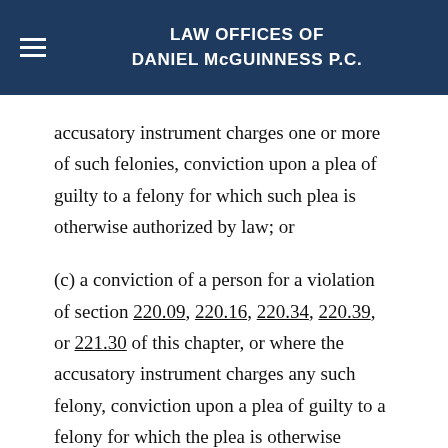LAW OFFICES OF DANIEL McGUINNESS P.C.
accusatory instrument charges one or more of such felonies, conviction upon a plea of guilty to a felony for which such plea is otherwise authorized by law; or
(c) a conviction of a person for a violation of section 220.09, 220.16, 220.34, 220.39, or 221.30 of this chapter, or where the accusatory instrument charges any such felony, conviction upon a plea of guilty to a felony for which the plea is otherwise authorized by law, together